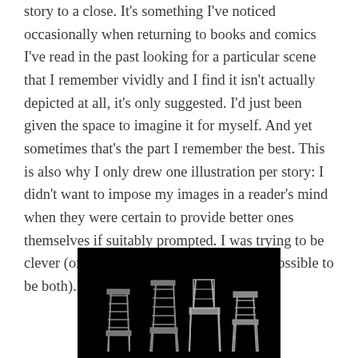story to a close. It's something I've noticed occasionally when returning to books and comics I've read in the past looking for a particular scene that I remember vividly and I find it isn't actually depicted at all, it's only suggested. I'd just been given the space to imagine it for myself. And yet sometimes that's the part I remember the best. This is also why I only drew one illustration per story: I didn't want to impose my images in a reader's mind when they were certain to provide better ones themselves if suitably prompted. I was trying to be clever (or maybe lazy; but sometimes it's possible to be both).
[Figure (illustration): Dark illustration on black background showing several chair silhouettes in grey/white outline style, depicting various types of chairs arranged together]